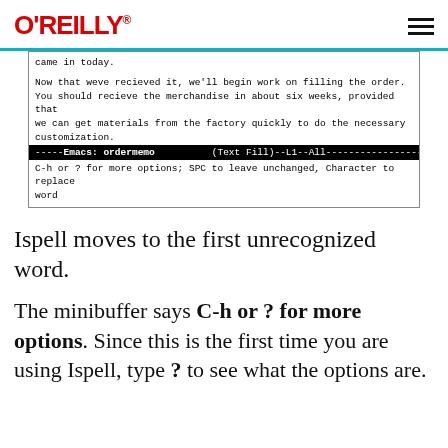O'REILLY
[Figure (screenshot): Emacs editor window showing a memo text with status bar '-----Emacs: ordermemo   (Text Fill)--L1--All--------------------------' and minibuffer showing 'C-h or ? for more options; SPC to leave unchanged, Character to replace word']
Ispell moves to the first unrecognized word.
The minibuffer says C-h or ? for more options. Since this is the first time you are using Ispell, type ? to see what the options are.